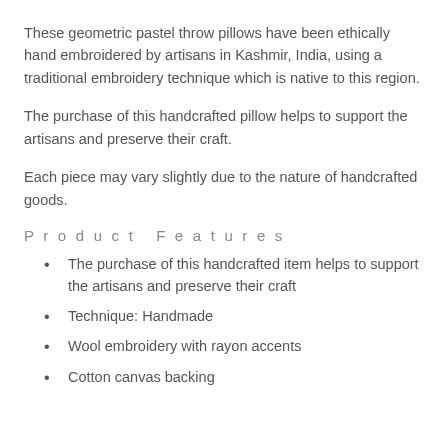These geometric pastel throw pillows have been ethically hand embroidered by artisans in Kashmir, India, using a traditional embroidery technique which is native to this region.
The purchase of this handcrafted pillow helps to support the artisans and preserve their craft.
Each piece may vary slightly due to the nature of handcrafted goods.
Product Features
The purchase of this handcrafted item helps to support the artisans and preserve their craft
Technique: Handmade
Wool embroidery with rayon accents
Cotton canvas backing